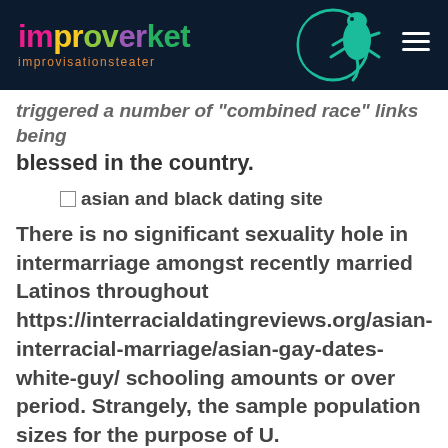improverket improvisationsteater
triggered a number of "combined race" links being blessed in the country.
[Figure (photo): Broken image placeholder with alt text: asian and black dating site]
There is no significant sexuality hole in intermarriage amongst recently married Latinos throughout https://interracialdatingreviews.org/asian-interracial-marriage/asian-gay-dates-white-guy/ schooling amounts or over period. Strangely, the sample population sizes for the purpose of U.